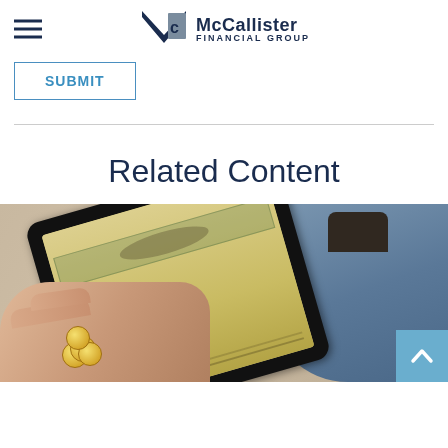McCallister Financial Group
SUBMIT
Related Content
[Figure (photo): Person holding a tablet displaying money/financial documents, with gold coins visible. Background shows someone wearing jeans.]